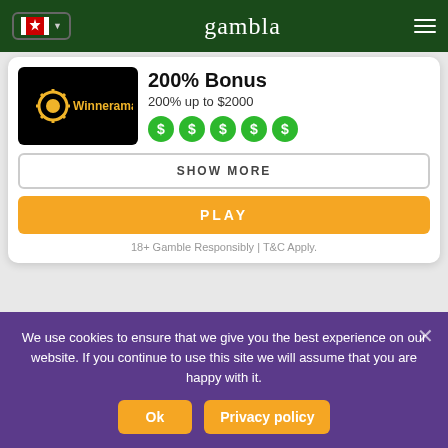gambla
[Figure (logo): Winnerama casino logo - black background with gold gear/sun icon and Winnerama text]
200% Bonus
200% up to $2000
[Figure (other): Five green circles with dollar sign symbols representing rating]
SHOW MORE
PLAY
18+ Gamble Responsibly | T&C Apply.
[Figure (logo): Level Up casino logo - dark purple background with stylized text]
$100 Bonus
100% up to $100
We use cookies to ensure that we give you the best experience on our website. If you continue to use this site we will assume that you are happy with it.
Ok
Privacy policy